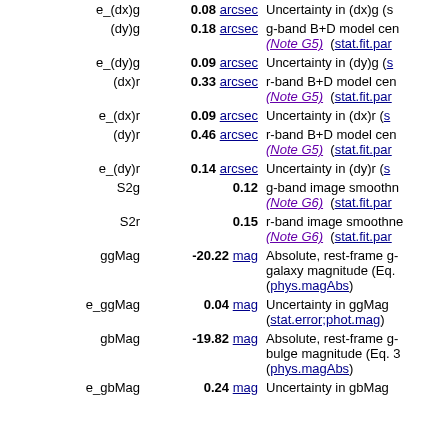| Name | Value | Description |
| --- | --- | --- |
| e_(dx)g | 0.08 arcsec | Uncertainty in (dx)g (s... |
| (dy)g | 0.18 arcsec | g-band B+D model cen... (Note G5) (stat.fit.par... |
| e_(dy)g | 0.09 arcsec | Uncertainty in (dy)g (s... |
| (dx)r | 0.33 arcsec | r-band B+D model cen... (Note G5) (stat.fit.par... |
| e_(dx)r | 0.09 arcsec | Uncertainty in (dx)r (s... |
| (dy)r | 0.46 arcsec | r-band B+D model cen... (Note G5) (stat.fit.par... |
| e_(dy)r | 0.14 arcsec | Uncertainty in (dy)r (s... |
| S2g | 0.12 | g-band image smoothn... (Note G6) (stat.fit.par... |
| S2r | 0.15 | r-band image smoothne... (Note G6) (stat.fit.par... |
| ggMag | -20.22 mag | Absolute, rest-frame g- galaxy magnitude (Eq.... (phys.magAbs) |
| e_ggMag | 0.04 mag | Uncertainty in ggMag (stat.error;phot.mag) |
| gbMag | -19.82 mag | Absolute, rest-frame g- bulge magnitude (Eq. 3 (phys.magAbs) |
| e_gbMag | 0.24 mag | Uncertainty in gbMag... |